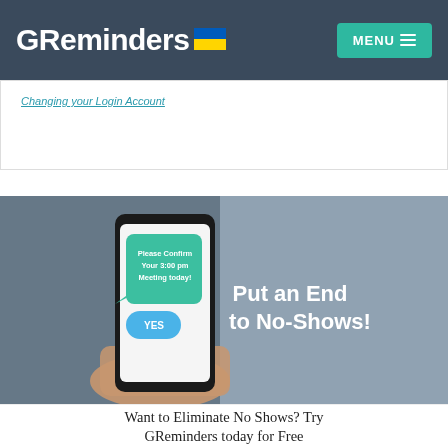GReminders MENU
Changing your Login Account
[Figure (photo): Hand holding smartphone displaying a green speech bubble with text 'Please Confirm Your 3:00 pm Meeting today!' and a blue 'YES' bubble, with overlaid text 'Put an End to No-Shows!' on a blurred indoor background.]
Want to Eliminate No Shows? Try GReminders today for Free